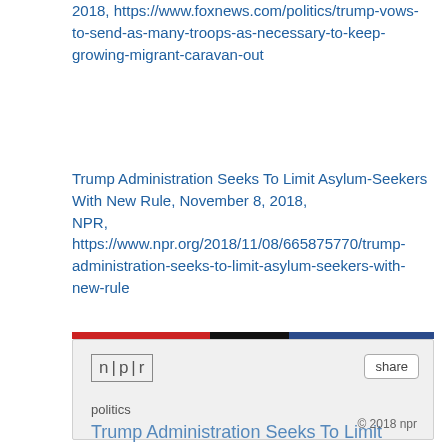2018, https://www.foxnews.com/politics/trump-vows-to-send-as-many-troops-as-necessary-to-keep-growing-migrant-caravan-out
Trump Administration Seeks To Limit Asylum-Seekers With New Rule, November 8, 2018, NPR, https://www.npr.org/2018/11/08/665875770/trump-administration-seeks-to-limit-asylum-seekers-with-new-rule
[Figure (screenshot): NPR embedded audio player widget showing article 'Trump Administration Seeks To Limit Asylum-Seekers With New Rule' with a play button, listen label, duration 3:26, scrubber bar, and © 2018 npr copyright notice. Above the widget is a tricolor bar (red, black, blue).]